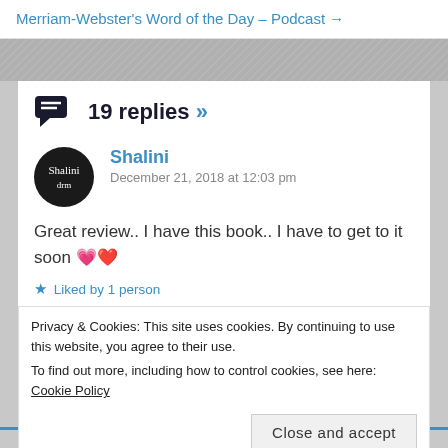Merriam-Webster's Word of the Day – Podcast →
19 replies »
Shalini
December 21, 2018 at 12:03 pm
Great review.. I have this book.. I have to get to it soon 💗❤
★ Liked by 1 person
Privacy & Cookies: This site uses cookies. By continuing to use this website, you agree to their use.
To find out more, including how to control cookies, see here: Cookie Policy
Close and accept